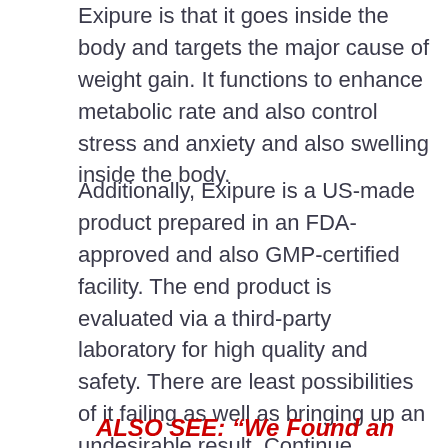Exipure is that it goes inside the body and targets the major cause of weight gain. It functions to enhance metabolic rate and also control stress and anxiety and also swelling inside the body.
Additionally, Exipure is a US-made product prepared in an FDA-approved and also GMP-certified facility. The end product is evaluated via a third-party laboratory for high quality and safety. There are least possibilities of it failing as well as bringing up an undesirable result. Continue reading to recognize more about Exipure action, components, and prices.
ALSO SEE: “We Found an AMAZING Marked Down Rate For New Exipure